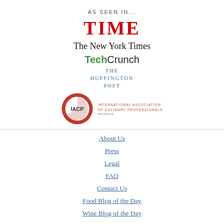AS SEEN IN...
[Figure (logo): TIME magazine logo in red bold serif font]
[Figure (logo): The New York Times logo in black serif blackletter font]
[Figure (logo): TechCrunch logo with green bold Tech and black Crunch]
[Figure (logo): The Huffington Post logo in teal serif capital letters]
[Figure (logo): IACP International Association of Culinary Professionals Member badge with red circle]
About Us
Press
Legal
FAQ
Contact Us
Food Blog of the Day
Wine Blog of the Day